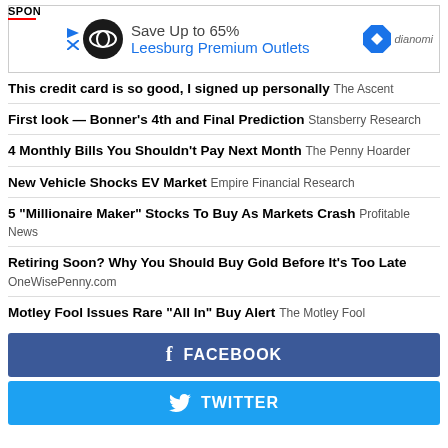[Figure (infographic): Sponsored advertisement banner: Save Up to 65% Leesburg Premium Outlets with Dianomi logo]
This credit card is so good, I signed up personally The Ascent
First look — Bonner's 4th and Final Prediction Stansberry Research
4 Monthly Bills You Shouldn't Pay Next Month The Penny Hoarder
New Vehicle Shocks EV Market Empire Financial Research
5 "Millionaire Maker" Stocks To Buy As Markets Crash Profitable News
Retiring Soon? Why You Should Buy Gold Before It's Too Late OneWisePenny.com
Motley Fool Issues Rare "All In" Buy Alert The Motley Fool
[Figure (infographic): Facebook social share button]
[Figure (infographic): Twitter social share button]